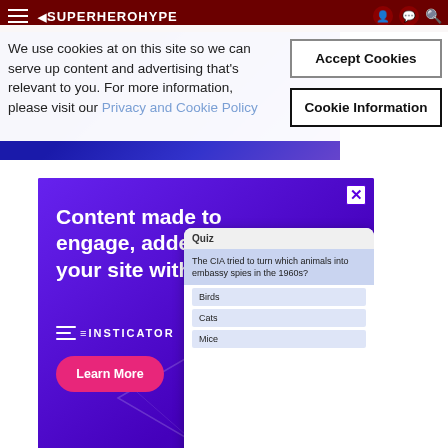[Figure (screenshot): SuperHeroHype website header with dark red navigation bar, hamburger menu, logo, and user/search icons. Below is a partial hero image with blue/purple gradient background.]
We use cookies at on this site so we can serve up content and advertising that's relevant to you. For more information, please visit our Privacy and Cookie Policy
Accept Cookies
Cookie Information
[Figure (screenshot): Advertisement banner with purple/violet background. Text reads 'Content made to engage, added to your site with ease'. Shows Insticator logo and a 'Learn More' pink button. Right side shows a device mockup with a quiz: 'The CIA tried to turn which animals into embassy spies in the 1960s?' with options Birds, Cats, Mice. Decorative geometric triangle lines in background.]